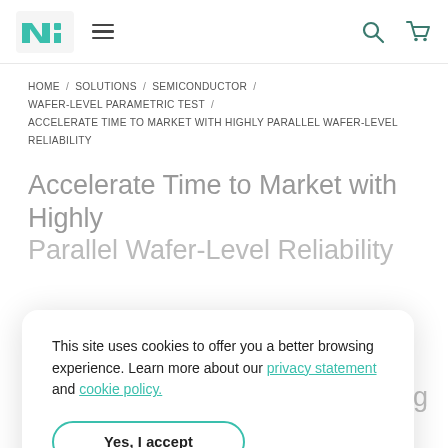NI logo, hamburger menu, search icon, cart icon
HOME / SOLUTIONS / SEMICONDUCTOR / WAFER-LEVEL PARAMETRIC TEST / ACCELERATE TIME TO MARKET WITH HIGHLY PARALLEL WAFER-LEVEL RELIABILITY
Accelerate Time to Market with Highly Parallel Wafer-Level Reliability
This site uses cookies to offer you a better browsing experience. Learn more about our privacy statement and cookie policy.
Yes, I accept